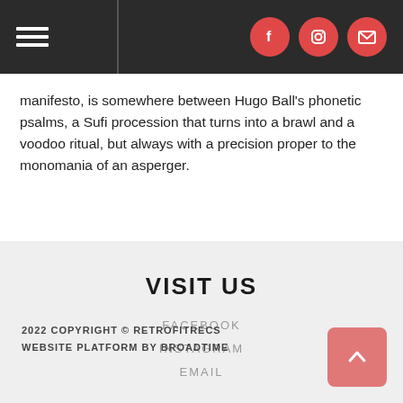Navigation bar with hamburger menu and social icons (Facebook, Instagram, Email)
manifesto, is somewhere between Hugo Ball's phonetic psalms, a Sufi procession that turns into a brawl and a voodoo ritual, but always with a precision proper to the monomania of an asperger.
VISIT US
FACEBOOK
INSTAGRAM
EMAIL
2022 COPYRIGHT © RETROFITRECS
WEBSITE PLATFORM BY BROADTIME